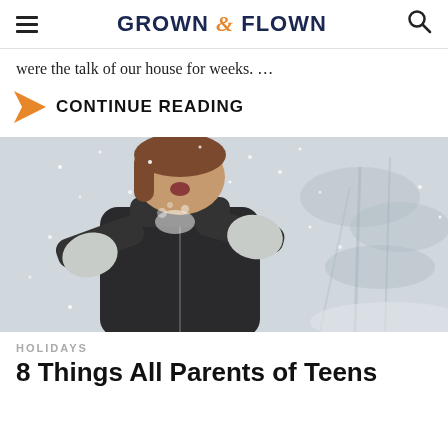GROWN & FLOWN
were the talk of our house for weeks. …
CONTINUE READING
[Figure (photo): Young woman in winter coat and mittens blowing snow in a snowy outdoor scene with bare trees in the background.]
HOLIDAYS
8 Things All Parents of Teens...